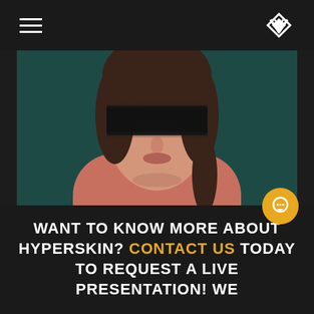[Figure (screenshot): Website screenshot showing a navigation bar with hamburger menu and geometric logo, a large portrait photo of a young woman in a pink sweater with her eyes obscured by a blurred black band, and a dark bottom band with promotional text.]
WANT TO KNOW MORE ABOUT HYPERSKIN? CONTACT US TODAY TO REQUEST A LIVE PRESENTATION! WE